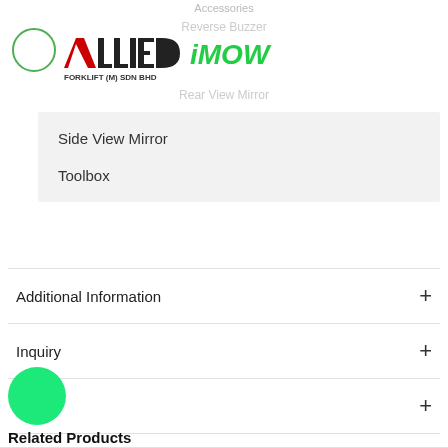Accessories
Reverse Buzzer
[Figure (logo): Allied Forklift (M) Sdn Bhd and iMOW logos]
Rear View Mirror
Side View Mirror
Toolbox
Additional Information
Inquiry
Video
Download
Related Products